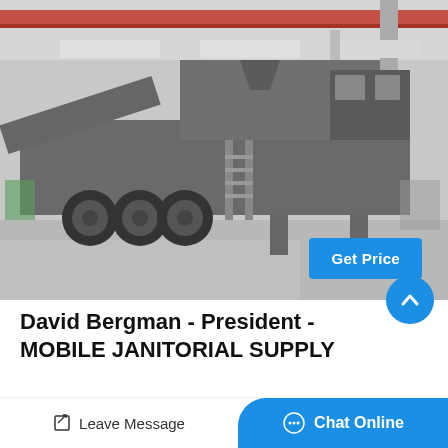[Figure (photo): Black and white photograph of a large mobile industrial crushing/processing machine mounted on a heavy truck chassis with multiple axles, positioned inside a large industrial warehouse or factory building with red overhead crane beams and fluorescent lighting.]
Get Price
David Bergman - President - MOBILE JANITORIAL SUPPLY
MOBILE JANITORIAL SUPPLY
Leave Message
Chat Online